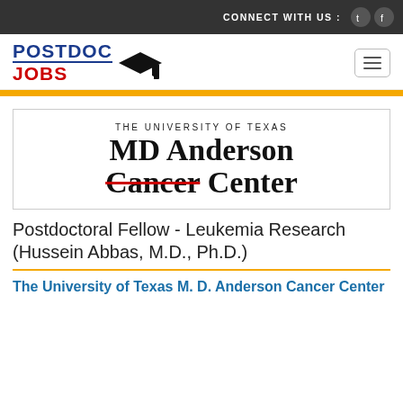CONNECT WITH US :
[Figure (logo): PostDoc Jobs logo with graduation cap]
[Figure (logo): The University of Texas MD Anderson Cancer Center logo with red strikethrough on Cancer]
Postdoctoral Fellow - Leukemia Research (Hussein Abbas, M.D., Ph.D.)
The University of Texas M. D. Anderson Cancer Center